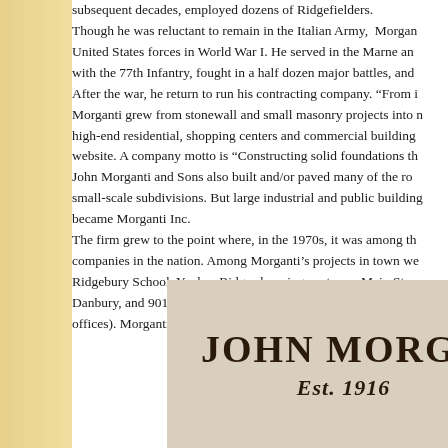subsequent decades, employed dozens of Ridgefielders. Though he was reluctant to remain in the Italian Army, Morgan United States forces in World War I. He served in the Marne and with the 77th Infantry, fought in a half dozen major battles, and After the war, he return to run his contracting company. "From it Morganti grew from stonewall and small masonry projects into high-end residential, shopping centers and commercial buildings website. A company motto is "Constructing solid foundations th John Morganti and Sons also built and/or paved many of the roads small-scale subdivisions. But large industrial and public buildings became Morganti Inc. The firm grew to the point where, in the 1970s, it was among th companies in the nation. Among Morganti's projects in town we Ridgebury School, Yankee Ridge shopping center on Main Stre Danbury, and 901 Ethan Allen Highway (former Benrus Center, offices). Morganti built Wilton High School, much of Danbury Ho
[Figure (photo): Sign reading 'JOHN MORGA' (cropped) with 'Est. 1916' in italic below, on a beige/cream background]